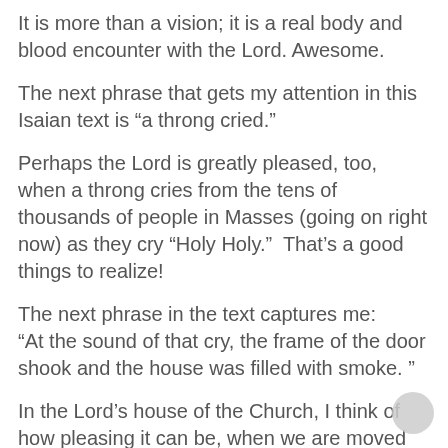It is more than a vision; it is a real body and blood encounter with the Lord. Awesome.
The next phrase that gets my attention in this Isaian text is “a throng cried.”
Perhaps the Lord is greatly pleased, too, when a throng cries from the tens of thousands of people in Masses (going on right now) as they cry “Holy Holy.”  That’s a good things to realize!
The next phrase in the text captures me: “At the sound of that cry, the frame of the door shook and the house was filled with smoke. ”
In the Lord’s house of the Church, I think of how pleasing it can be, when we are moved by The Mass, and lift up our prayers in Christ, as going forth like the incense.